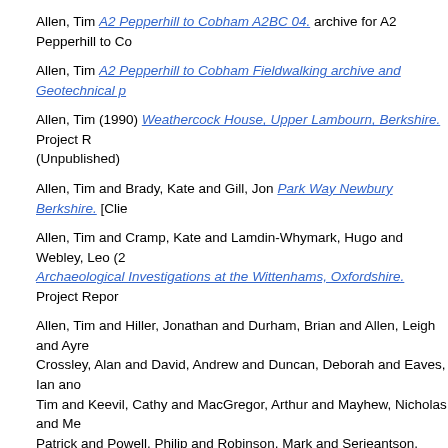Allen, Tim A2 Pepperhill to Cobham A2BC 04. archive for A2 Pepperhill to Co...
Allen, Tim A2 Pepperhill to Cobham Fieldwalking archive and Geotechnical p...
Allen, Tim (1990) Weathercock House, Upper Lambourn, Berkshire. Project R... (Unpublished)
Allen, Tim and Brady, Kate and Gill, Jon Park Way Newbury Berkshire. [Clie...
Allen, Tim and Cramp, Kate and Lamdin-Whymark, Hugo and Webley, Leo (2... Archaeological Investigations at the Wittenhams, Oxfordshire. Project Repor...
Allen, Tim and Hiller, Jonathan and Durham, Brian and Allen, Leigh and Ayre... Crossley, Alan and David, Andrew and Duncan, Deborah and Eaves, Ian ano... Tim and Keevil, Cathy and MacGregor, Arthur and Mayhew, Nicholas and Me... Patrick and Powell, Philip and Robinson, Mark and Serjeantson, Dale and Ti... Goller, Rob and Patton, Amanda and Cheshire, Steve (2002) The excavation... Winchester at Mount House, Witney, Oxfordshire Oxford Archaeology Thames... Report. Oxford Archaeological Unit, Oxford.
Allen, Tim and Kennedy, Hannah Archaeological Discoveries on the Junction...
Anderson, Liz Albion Mill Mill Street Worcester Worcestershire. [Client Repor...
Anker, Katrina Land at Box Road Cam Gloucestershire. [Client Report] (Unpr...
Anker, Katrina The Vicarage White Horse Lane Whitchurch. [Client Report] (N...
Atherton, Kate Excavations at Friar Street, Reading, Berkshire OAU occasio...
Atkins, Robert (2004) A Late Medieval Quarry Pit at Ten Bell Lane, Soham, C...